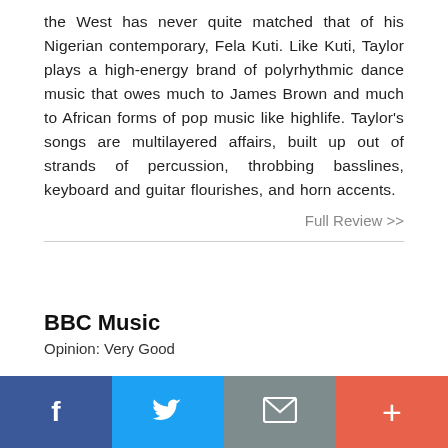the West has never quite matched that of his Nigerian contemporary, Fela Kuti. Like Kuti, Taylor plays a high-energy brand of polyrhythmic dance music that owes much to James Brown and much to African forms of pop music like highlife. Taylor's songs are multilayered affairs, built up out of strands of percussion, throbbing basslines, keyboard and guitar flourishes, and horn accents.
Full Review >>
BBC Music
Opinion: Very Good
[Figure (infographic): Social sharing bar with four buttons: Facebook (blue), Twitter (light blue), Email (grey), More/Plus (orange-red)]